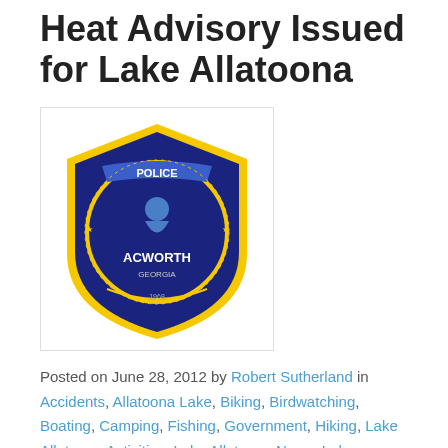Heat Advisory Issued for Lake Allatoona
[Figure (logo): Acworth Police Department badge/shield logo with yellow and blue colors, showing a police figure and 'ACWORTH GEORGIA' text]
Posted on June 28, 2012 by Robert Sutherland in Accidents, Allatoona Lake, Biking, Birdwatching, Boating, Camping, Fishing, Government, Hiking, Lake Allatoona Activities, Lake Allatoona News, Lake Allatoona Parks, Lake Allatoona Tourism, Lake Allatoona Travel, Lake Allatoona Weather, Running, Sports, Swimming Comments Off
It is the mission of the Acworth Police Department to provide fair, impartial, and excellent law enforcement service to our community. To that end, we pledge to pursue the highest levels